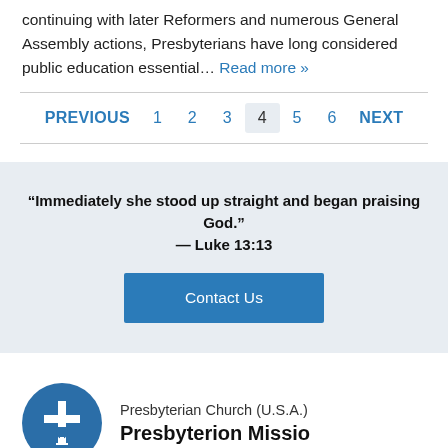continuing with later Reformers and numerous General Assembly actions, Presbyterians have long considered public education essential… Read more »
PREVIOUS  1  2  3  4  5  6  NEXT
“Immediately she stood up straight and began praising God.” — Luke 13:13
Contact Us
[Figure (logo): Presbyterian Church (U.S.A.) circular blue logo with cross and chalice symbol]
Presbyterian Church (U.S.A.) Presbyterian Mission